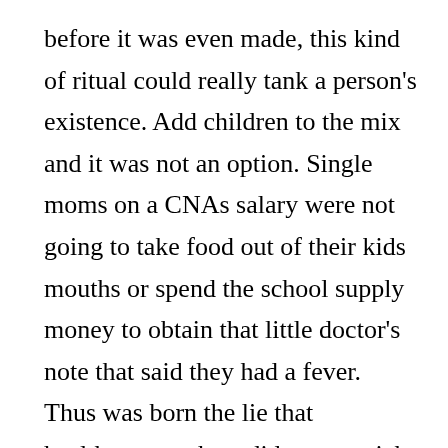before it was even made, this kind of ritual could really tank a person's existence. Add children to the mix and it was not an option. Single moms on a CNAs salary were not going to take food out of their kids mouths or spend the school supply money to obtain that little doctor's note that said they had a fever. Thus was born the lie that healthcare workers did not get sick.

For 4 days i cared for those who were feverish,